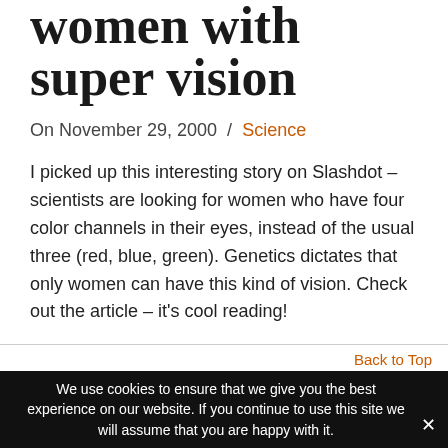women with super vision
On November 29, 2000 / Science
I picked up this interesting story on Slashdot – scientists are looking for women who have four color channels in their eyes, instead of the usual three (red, blue, green). Genetics dictates that only women can have this kind of vision. Check out the article – it's cool reading!
Back to Top
We use cookies to ensure that we give you the best experience on our website. If you continue to use this site we will assume that you are happy with it.